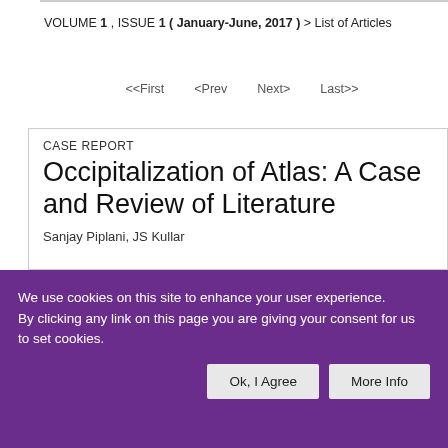VOLUME 1 , ISSUE 1 ( January-June, 2017 ) > List of Articles
<<First   <Prev   Next>   Last>>
CASE REPORT
Occipitalization of Atlas: A Case and Review of Literature
Sanjay Piplani, JS Kullar
We use cookies on this site to enhance your user experience. By clicking any link on this page you are giving your consent for us to set cookies.
Ok, I Agree   More Info